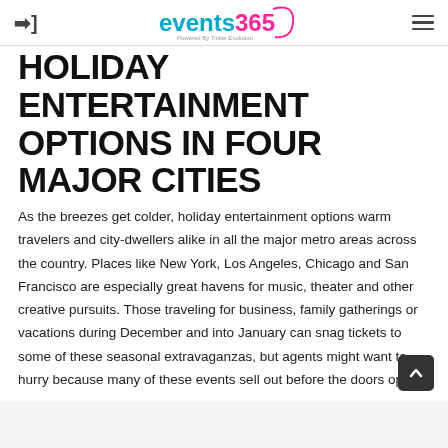events365 Powered By Ticket Evolution
HOLIDAY ENTERTAINMENT OPTIONS IN FOUR MAJOR CITIES
As the breezes get colder, holiday entertainment options warm travelers and city-dwellers alike in all the major metro areas across the country. Places like New York, Los Angeles, Chicago and San Francisco are especially great havens for music, theater and other creative pursuits. Those traveling for business, family gatherings or vacations during December and into January can snag tickets to some of these seasonal extravaganzas, but agents might want to hurry because many of these events sell out before the doors open.